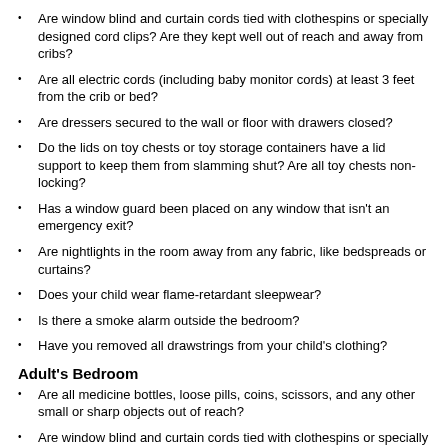Are window blind and curtain cords tied with clothespins or specially designed cord clips? Are they kept well out of reach and away from cribs?
Are all electric cords (including baby monitor cords) at least 3 feet from the crib or bed?
Are dressers secured to the wall or floor with drawers closed?
Do the lids on toy chests or toy storage containers have a lid support to keep them from slamming shut? Are all toy chests non-locking?
Has a window guard been placed on any window that isn't an emergency exit?
Are nightlights in the room away from any fabric, like bedspreads or curtains?
Does your child wear flame-retardant sleepwear?
Is there a smoke alarm outside the bedroom?
Have you removed all drawstrings from your child's clothing?
Adult's Bedroom
Are all medicine bottles, loose pills, coins, scissors, and any other small or sharp objects out of reach?
Are window blind and curtain cords tied with clothespins or specially designed cord clips?
If you own firearms: